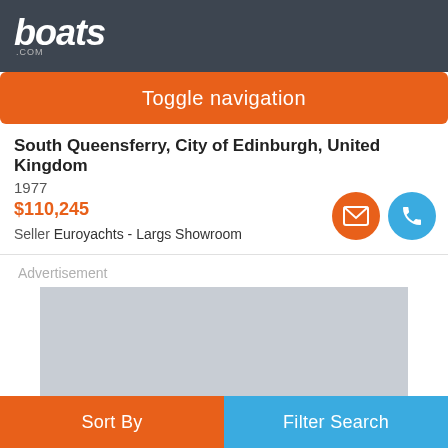boats.com
Toggle navigation
South Queensferry, City of Edinburgh, United Kingdom
1977
$110,245
Seller Euroyachts - Largs Showroom
[Figure (other): Advertisement placeholder - grey rectangle]
Sort By  Filter Search